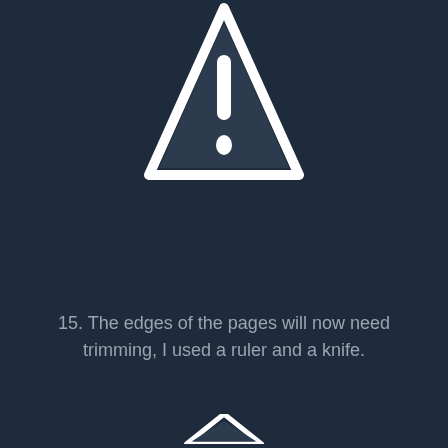[Figure (illustration): Warning road sign icon — a dark trapezoid shape with white border containing an exclamation mark, positioned at the top center of the page]
15. The edges of the pages will now need trimming, I used a ruler and a knife.
[Figure (illustration): Partial warning road sign icon visible at the bottom center of the page, cropped]